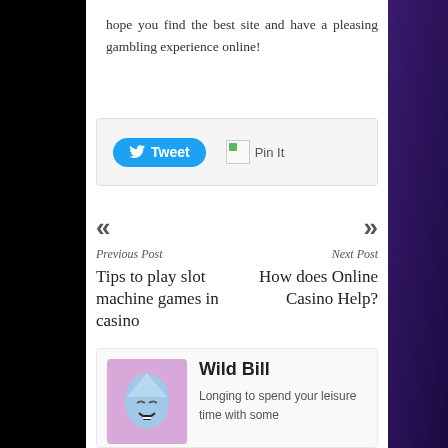hope you find the best site and have a pleasing gambling experience online!
[Figure (other): Social share bar with Tweet button and Pin It button]
« Previous Post
Tips to play slot machine games in casino
Next Post »
How does Online Casino Help?
Wild Bill
Longing to spend your leisure time with some